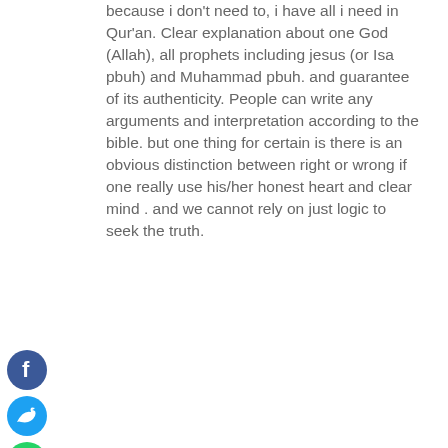because i don't need to, i have all i need in Qur'an. Clear explanation about one God (Allah), all prophets including jesus (or Isa pbuh) and Muhammad pbuh. and guarantee of its authenticity. People can write any arguments and interpretation according to the bible. but one thing for certain is there is an obvious distinction between right or wrong if one really use his/her honest heart and clear mind . and we cannot rely on just logic to seek the truth.
UNCLE LOGIC FROM UK said: